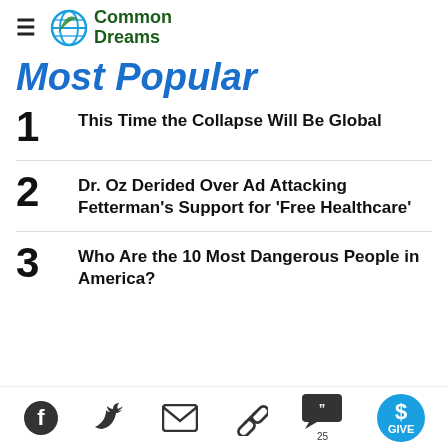Common Dreams
Most Popular
1 This Time the Collapse Will Be Global
2 Dr. Oz Derided Over Ad Attacking Fetterman's Support for 'Free Healthcare'
3 Who Are the 10 Most Dangerous People in America?
Facebook, Twitter, Email, Link, Comments 25, GIVE